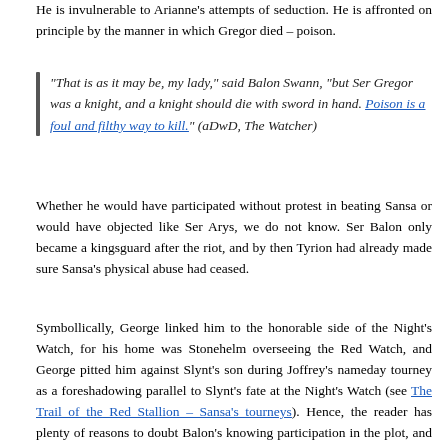He is invulnerable to Arianne's attempts of seduction. He is affronted on principle by the manner in which Gregor died – poison.
“That is as it may be, my lady,” said Balon Swann, “but Ser Gregor was a knight, and a knight should die with sword in hand. Poison is a foul and filthy way to kill.” (aDwD, The Watcher)
Whether he would have participated without protest in beating Sansa or would have objected like Ser Arys, we do not know. Ser Balon only became a kingsguard after the riot, and by then Tyrion had already made sure Sansa’s physical abuse had ceased.
Symbollically, George linked him to the honorable side of the Night’s Watch, for his home was Stonehelm overseeing the Red Watch, and George pitted him against Slynt’s son during Joffrey’s nameday tourney as a foreshadowing parallel to Slynt’s fate at the Night’s Watch (see The Trail of the Red Stallion – Sansa’s tourneys). Hence, the reader has plenty of reasons to doubt Balon’s knowing participation in the plot, and therefore reason to doubt Prince Doran’s assertions about